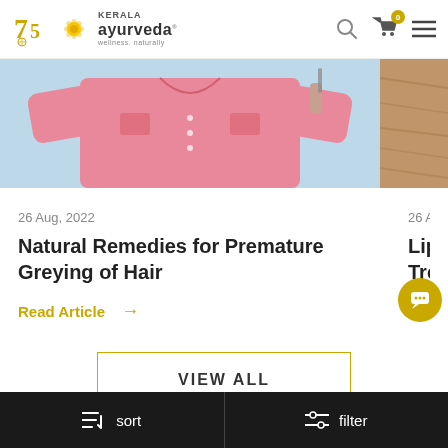Kerala Ayurveda — wellness. naturally
[Figure (photo): Person wearing a pink long-sleeve shirt against a light blue background, cropped at upper body]
[Figure (photo): Partial image of a wooden or natural surface, partially cropped on the right]
26 Aug, 2022
26 Aug
Natural Remedies for Premature Greying of Hair
Liposer Treatm
Read Article →
Read A
VIEW ALL
sort   filter